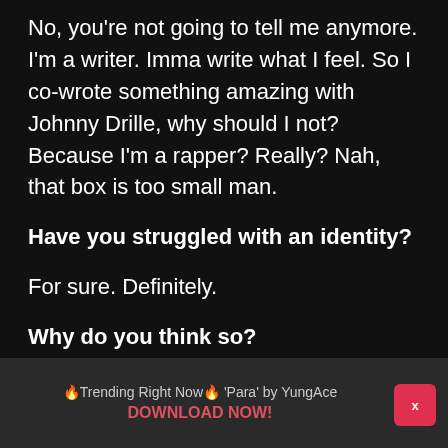No, you're not going to tell me anymore. I'm a writer. Imma write what I feel. So I co-wrote something amazing with Johnny Drille, why should I not? Because I'm a rapper? Really? Nah, that box is too small man.
Have you struggled with an identity?
For sure. Definitely.
Why do you think so?
🔥Trending Right Now🔥 'Para' by YungAce DOWNLOAD NOW!